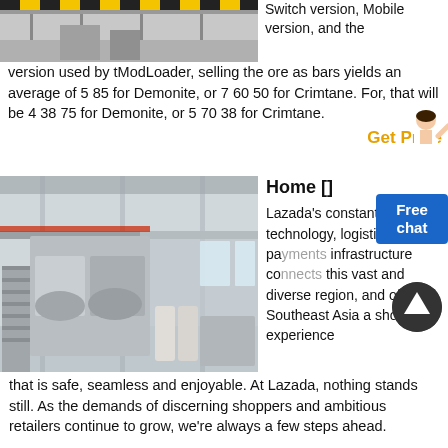[Figure (photo): Top portion of an industrial warehouse/factory interior image, partially visible at top left]
Switch version, Mobile version, and the version used by tModLoader, selling the ore as bars yields an average of 5 85 for Demonite, or 7 60 50 for Crimtane. For, that will be 4 38 75 for Demonite, or 5 70 38 for Crimtane.
Get Price
[Figure (photo): Industrial factory/warehouse interior with large metal equipment, mezzanine level, stairs, and machinery]
Home []
Lazada's constantly evolving technology, logistics and payments infrastructure connects this vast and diverse region, and offers Southeast Asia a shopping experience that is safe, seamless and enjoyable. At Lazada, nothing stands still. As the demands of discerning shoppers and ambitious retailers continue to grow, we're always a few steps ahead.